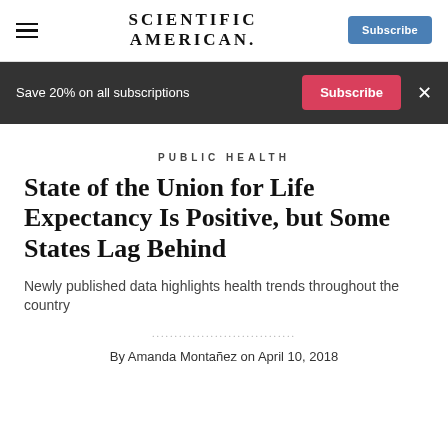SCIENTIFIC AMERICAN
Save 20% on all subscriptions  Subscribe  ×
PUBLIC HEALTH
State of the Union for Life Expectancy Is Positive, but Some States Lag Behind
Newly published data highlights health trends throughout the country
By Amanda Montañez on April 10, 2018